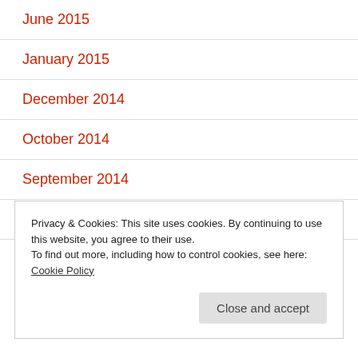June 2015
January 2015
December 2014
October 2014
September 2014
August 2014
Privacy & Cookies: This site uses cookies. By continuing to use this website, you agree to their use.
To find out more, including how to control cookies, see here: Cookie Policy
Close and accept